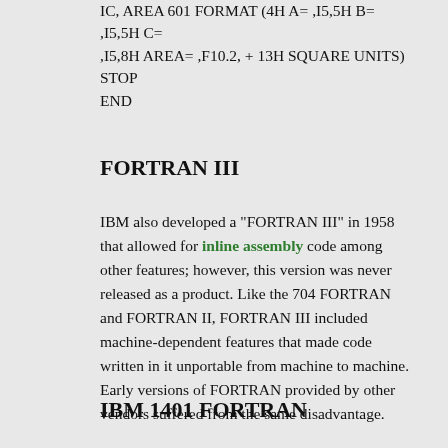IC, AREA 601 FORMAT (4H A= ,I5,5H B= ,I5,5H C= ,I5,8H AREA= ,F10.2, + 13H SQUARE UNITS) STOP END
FORTRAN III
IBM also developed a "FORTRAN III" in 1958 that allowed for inline assembly code among other features; however, this version was never released as a product. Like the 704 FORTRAN and FORTRAN II, FORTRAN III included machine-dependent features that made code written in it unportable from machine to machine. Early versions of FORTRAN provided by other vendors suffered from the same disadvantage.
IBM 1401 FORTRAN